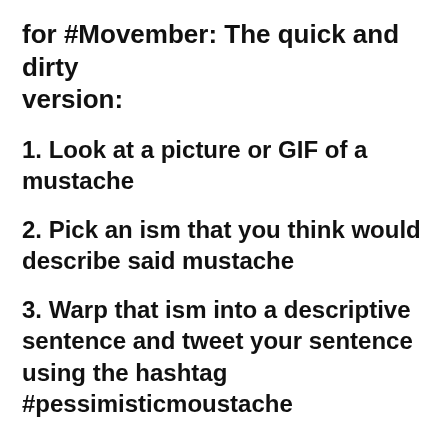for #Movember: The quick and dirty version:
1. Look at a picture or GIF of a mustache
2. Pick an ism that you think would describe said mustache
3. Warp that ism into a descriptive sentence and tweet your sentence using the hashtag #pessimisticmoustache